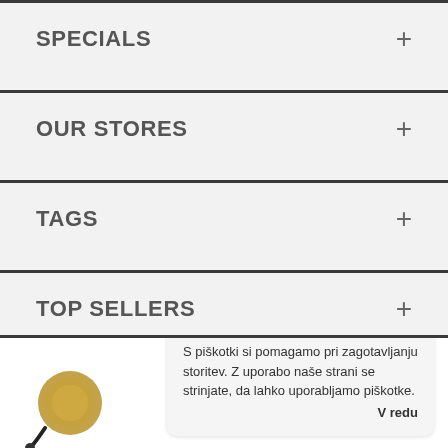SPECIALS
OUR STORES
TAGS
TOP SELLERS
[Figure (photo): Partial product image with a cookie consent toast overlay. Toast reads: 'S piškotki si pomagamo pri zagotavljanju storitev. Z uporabo naše strani se strinjate, da lahko uporabljamo piškotke.' with a 'V redu' button.]
S piškotki si pomagamo pri zagotavljanju storitev. Z uporabo naše strani se strinjate, da lahko uporabljamo piškotke.
V redu